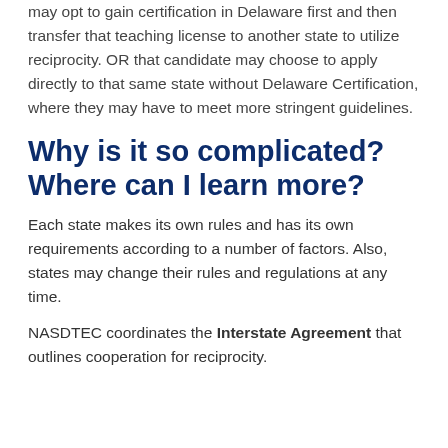may opt to gain certification in Delaware first and then transfer that teaching license to another state to utilize reciprocity. OR that candidate may choose to apply directly to that same state without Delaware Certification, where they may have to meet more stringent guidelines.
Why is it so complicated? Where can I learn more?
Each state makes its own rules and has its own requirements according to a number of factors. Also, states may change their rules and regulations at any time.
NASDTEC coordinates the Interstate Agreement that outlines cooperation for reciprocity.